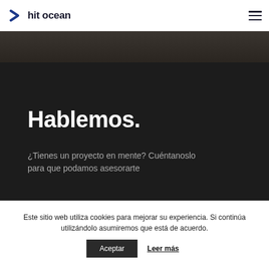hit ocean
[Figure (photo): Dark photo strip showing partial image at top of page]
Hablemos.
¿Tienes un proyecto en mente? Cuéntanoslo para que podamos asesorarte
ARGENTINA
Este sitio web utiliza cookies para mejorar su experiencia. Si continúa utilizándolo asumiremos que está de acuerdo.
Aceptar  Leer más